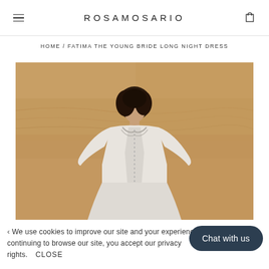ROSAMOSARIO
HOME / FATIMA THE YOUNG BRIDE LONG NIGHT DRESS
[Figure (photo): A young woman with dark curly hair wearing a white long dress with lace/embroidery details, standing against a sandy desert wall background.]
We use cookies to improve our site and your experience. By continuing to browse our site, you accept our privacy rights. CLOSE